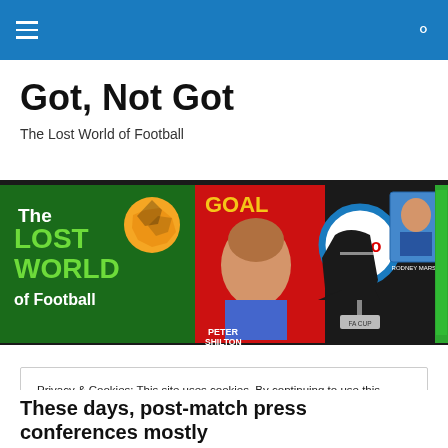Got, Not Got — navigation bar with menu and search icons
Got, Not Got
The Lost World of Football
[Figure (photo): Banner image showing football memorabilia: 'The Lost World of Football' book cover with orange football, GOAL magazine with Peter Shilton, Esso token sign, vintage football boot, player trading card, and Subbuteo game board]
Privacy & Cookies: This site uses cookies. By continuing to use this website, you agree to their use.
To find out more, including how to control cookies, see here: Cookie Policy
[Close and accept button]
These days, post-match press conferences mostly